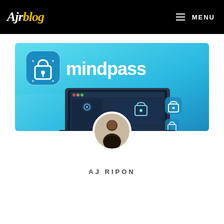Ajr blog  MENU
[Figure (screenshot): Mindpass product banner with cyan/blue gradient background, showing a padlock app icon and the word 'mindpass' in white, plus a laptop mockup with security UI elements, and a person avatar photo overlaid at bottom center.]
AJ RIPON